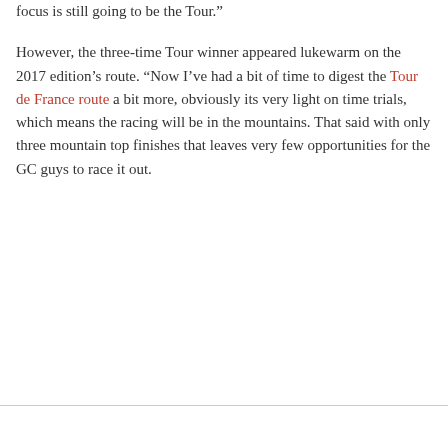focus is still going to be the Tour.” However, the three-time Tour winner appeared lukewarm on the 2017 edition’s route. “Now I’ve had a bit of time to digest the Tour de France route a bit more, obviously its very light on time trials, which means the racing will be in the mountains. That said with only three mountain top finishes that leaves very few opportunities for the GC guys to race it out.